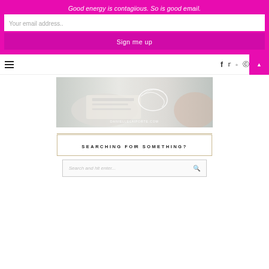Good energy is contagious. So is good email.
Your email address..
Sign me up
[Figure (screenshot): Website navigation bar with hamburger menu, social icons (Facebook, Twitter, Instagram, Pinterest), search icon, and a pink back-to-top button]
[Figure (photo): Hero image from daniellelaporte.com showing hands with paper/writing and a cursive signature overlay, with DANIELLELAPORTE.COM watermark]
SEARCHING FOR SOMETHING?
Search and hit enter...